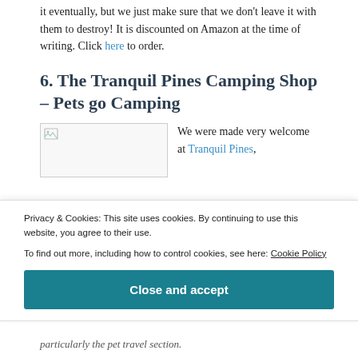it eventually, but we just make sure that we don't leave it with them to destroy! It is discounted on Amazon at the time of writing. Click here to order.
6. The Tranquil Pines Camping Shop – Pets go Camping
[Figure (photo): Image placeholder with broken image icon on left side]
We were made very welcome at Tranquil Pines,
Privacy & Cookies: This site uses cookies. By continuing to use this website, you agree to their use. To find out more, including how to control cookies, see here: Cookie Policy
Close and accept
particularly the pet travel section.